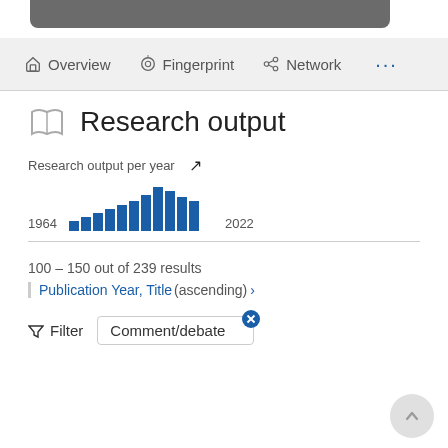[Figure (screenshot): Gray rounded rectangle bar at top of page]
Overview   Fingerprint   Network   ...
Research output
[Figure (bar-chart): Research output per year]
100 - 150 out of 239 results
Publication Year, Title (ascending) >
Filter   Comment/debate